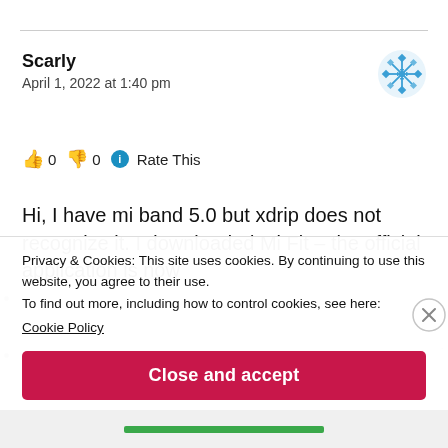Scarly
April 1, 2022 at 1:40 pm
[Figure (illustration): Blue snowflake/geometric avatar icon]
👍 0 👎 0 ℹ Rate This
Hi, I have mi band 5.0 but xdrip does not recognize it. I downloaded Mi Fit – the official application is now
Privacy & Cookies: This site uses cookies. By continuing to use this website, you agree to their use.
To find out more, including how to control cookies, see here:
Cookie Policy
Close and accept